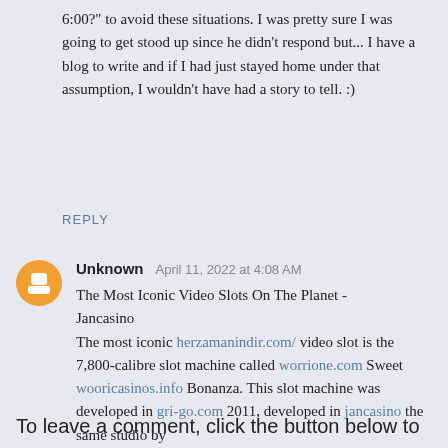6:00?" to avoid these situations. I was pretty sure I was going to get stood up since he didn't respond but... I have a blog to write and if I had just stayed home under that assumption, I wouldn't have had a story to tell. :)
REPLY
Unknown  April 11, 2022 at 4:08 AM
The Most Iconic Video Slots On The Planet - Jancasino
The most iconic herzamanindir.com/ video slot is the 7,800-calibre slot machine called worrione.com Sweet wooricasinos.info Bonanza. This slot machine was developed in gri-go.com 2011, developed in jancasino the same studio by
REPLY
To leave a comment, click the button below to